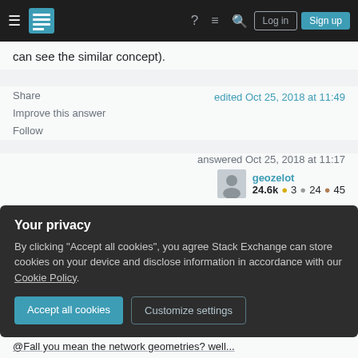Stack Exchange navigation bar with hamburger, logo, help, chat, search, Log in, Sign up
can see the similar concept).
Share   Improve this answer   Follow
edit Oct 25, 2018 at 11:49
answered Oct 25, 2018 at 11:17
geozelot
24.6k  3  24  45
This is great! Only question I have is: My geom column are not LineStrings, they are MultiLineStrings.
Your privacy
By clicking "Accept all cookies", you agree Stack Exchange can store cookies on your device and disclose information in accordance with our Cookie Policy.
Accept all cookies   Customize settings
@Fall you mean the network geometries? well...